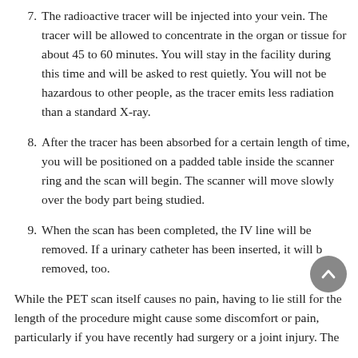7. The radioactive tracer will be injected into your vein. The tracer will be allowed to concentrate in the organ or tissue for about 45 to 60 minutes. You will stay in the facility during this time and will be asked to rest quietly. You will not be hazardous to other people, as the tracer emits less radiation than a standard X-ray.
8. After the tracer has been absorbed for a certain length of time, you will be positioned on a padded table inside the scanner ring and the scan will begin. The scanner will move slowly over the body part being studied.
9. When the scan has been completed, the IV line will be removed. If a urinary catheter has been inserted, it will be removed, too.
While the PET scan itself causes no pain, having to lie still for the length of the procedure might cause some discomfort or pain, particularly if you have recently had surgery or a joint injury. The